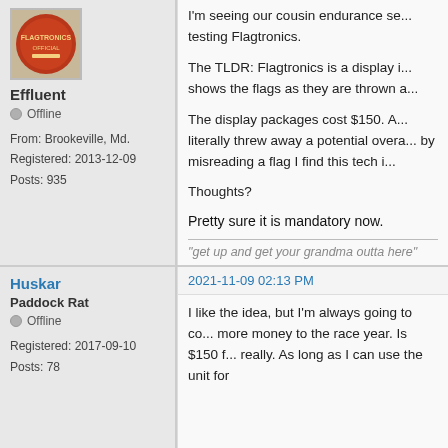[Figure (logo): Forum avatar/badge image for user Effluent]
Effluent
Offline
From: Brookeville, Md.
Registered: 2013-12-09
Posts: 935
I'm seeing our cousin endurance se... testing Flagtronics.

The TLDR: Flagtronics is a display i... shows the flags as they are thrown a...

The display packages cost $150. A... literally threw away a potential overa... by misreading a flag I find this tech i...

Thoughts?
Pretty sure it is mandatory now.
"get up and get your grandma outta here"
Huskar
Paddock Rat
Offline
Registered: 2017-09-10
Posts: 78
2021-11-09 02:13 PM
I like the idea, but I'm always going to co... more money to the race year. Is $150 f... really. As long as I can use the unit for